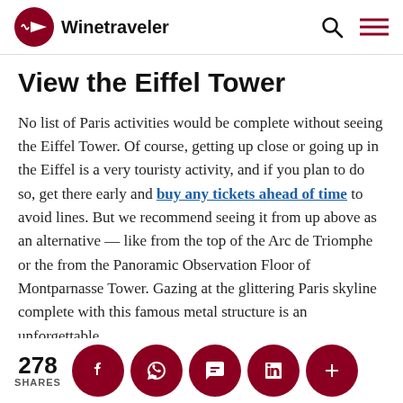Winetraveler
View the Eiffel Tower
No list of Paris activities would be complete without seeing the Eiffel Tower. Of course, getting up close or going up in the Eiffel is a very touristy activity, and if you plan to do so, get there early and buy any tickets ahead of time to avoid lines. But we recommend seeing it from up above as an alternative — like from the top of the Arc de Triomphe or the from the Panoramic Observation Floor of Montparnasse Tower. Gazing at the glittering Paris skyline complete with this famous metal structure is an unforgettable
278 SHARES